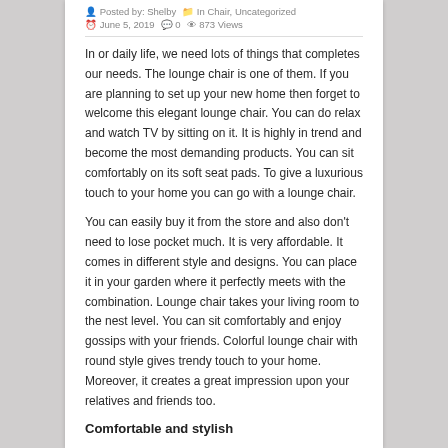Posted by: Shelby  In Chair, Uncategorized  June 5, 2019  0  873 Views
In or daily life, we need lots of things that completes our needs. The lounge chair is one of them. If you are planning to set up your new home then forget to welcome this elegant lounge chair. You can do relax and watch TV by sitting on it. It is highly in trend and become the most demanding products. You can sit comfortably on its soft seat pads. To give a luxurious touch to your home you can go with a lounge chair.
You can easily buy it from the store and also don't need to lose pocket much. It is very affordable. It comes in different style and designs. You can place it in your garden where it perfectly meets with the combination. Lounge chair takes your living room to the nest level. You can sit comfortably and enjoy gossips with your friends. Colorful lounge chair with round style gives trendy touch to your home. Moreover, it creates a great impression upon your relatives and friends too.
Comfortable and stylish